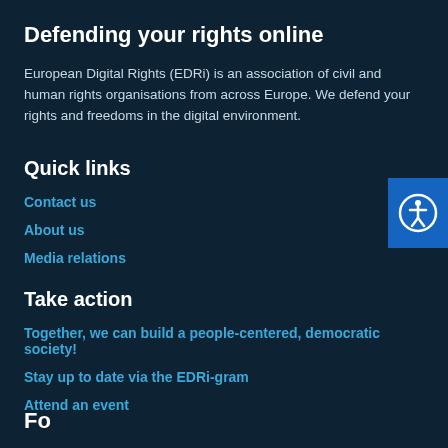Defending your rights online
European Digital Rights (EDRi) is an association of civil and human rights organisations from across Europe. We defend your rights and freedoms in the digital environment.
[Figure (illustration): Blue accessibility icon button on the right side of the page showing a person in a circle]
Quick links
Contact us
About us
Media relations
Take action
Together, we can build a people-centered, democratic society!
Stay up to date via the EDRi-gram
Attend an event
Fo